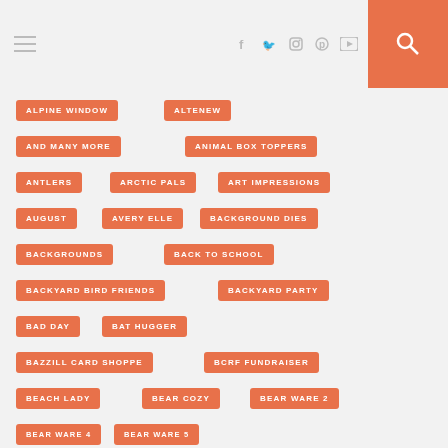Navigation header with hamburger menu, social icons (Facebook, Twitter, Instagram, Pinterest, YouTube), and search button
ALPINE WINDOW
ALTENEW
AND MANY MORE
ANIMAL BOX TOPPERS
ANTLERS
ARCTIC PALS
ART IMPRESSIONS
AUGUST
AVERY ELLE
BACKGROUND DIES
BACKGROUNDS
BACK TO SCHOOL
BACKYARD BIRD FRIENDS
BACKYARD PARTY
BAD DAY
BAT HUGGER
BAZZILL CARD SHOPPE
BCRF FUNDRAISER
BEACH LADY
BEAR COZY
BEAR WARE 2
BEAR WARE 4
BEAR WARE 5
BEAR WARE DRESS SENTIMENTS
BEAR WARE DRESS UP